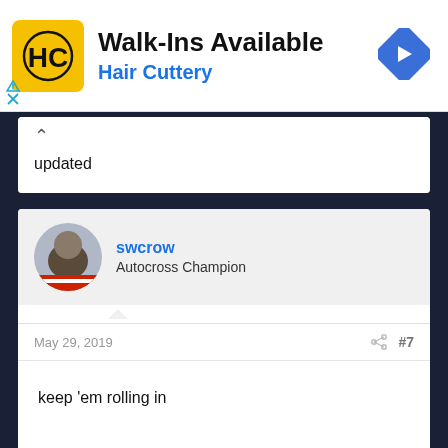[Figure (screenshot): Hair Cuttery advertisement banner with yellow HC logo, 'Walk-Ins Available' title, and blue 'Hair Cuttery' subtitle, with a blue diamond navigation arrow on the right]
updated
swcrow
Autocross Champion
May 29, 2019  #7
keep 'em rolling in
swcrow
Autocross Champion